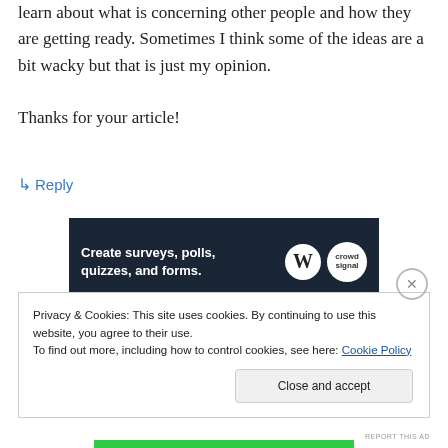learn about what is concerning other people and how they are getting ready. Sometimes I think some of the ideas are a bit wacky but that is just my opinion.

Thanks for your article!
↳ Reply
[Figure (screenshot): Advertisement banner with dark navy background reading 'Create surveys, polls, quizzes, and forms.' with WordPress and Crowdsignal logos on the right.]
REPORT THIS AD
Privacy & Cookies: This site uses cookies. By continuing to use this website, you agree to their use.
To find out more, including how to control cookies, see here: Cookie Policy
Close and accept